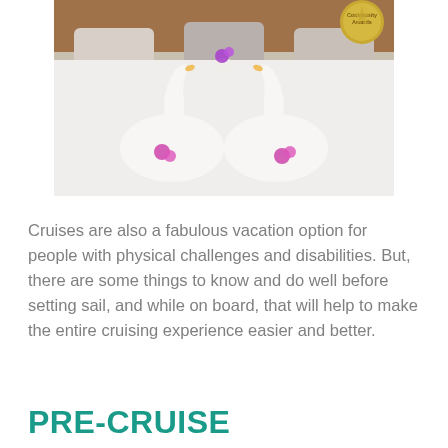[Figure (photo): Towel art of two swans forming a heart shape on a cruise ship bed, with pink/purple flowers. A gold Community Awards badge is visible in the top right corner.]
Cruises are also a fabulous vacation option for people with physical challenges and disabilities. But, there are some things to know and do well before setting sail, and while on board, that will help to make the entire cruising experience easier and better.
PRE-CRUISE